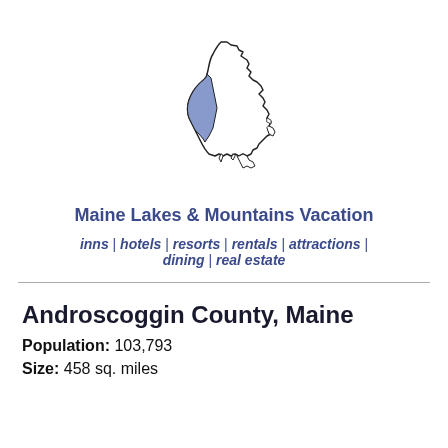[Figure (map): Outline map of Maine state with Androscoggin County highlighted in muted blue/lavender in the lower-left region of the state.]
Maine Lakes & Mountains Vacation
inns | hotels | resorts | rentals | attractions | dining | real estate
Androscoggin County, Maine
Population: 103,793
Size: 458 sq. miles